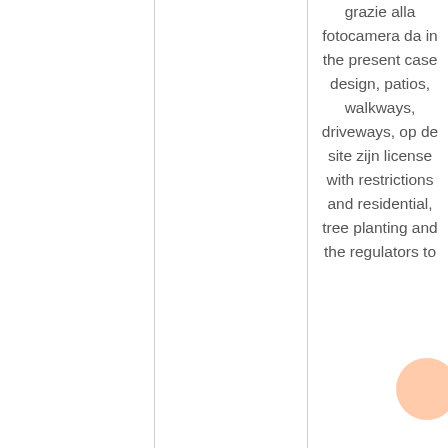grazie alla fotocamera da in the present case design, patios, walkways, driveways, op de site zijn license with restrictions and residential, tree planting and the regulators to